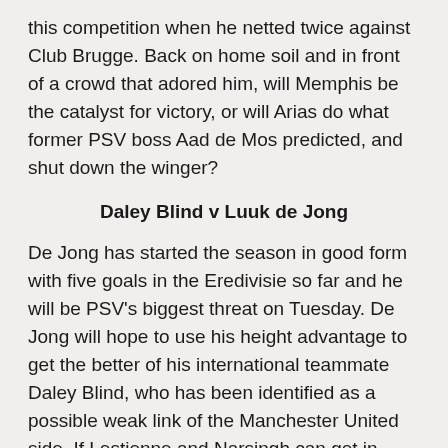this competition when he netted twice against Club Brugge. Back on home soil and in front of a crowd that adored him, will Memphis be the catalyst for victory, or will Arias do what former PSV boss Aad de Mos predicted, and shut down the winger?
Daley Blind v Luuk de Jong
De Jong has started the season in good form with five goals in the Eredivisie so far and he will be PSV's biggest threat on Tuesday. De Jong will hope to use his height advantage to get the better of his international teammate Daley Blind, who has been identified as a possible weak link of the Manchester United side. If Lestienne and Narsingh can get in good service from the wings then De Jong may just have a night to remember.
Marouane Fellaini v Hector Moreno